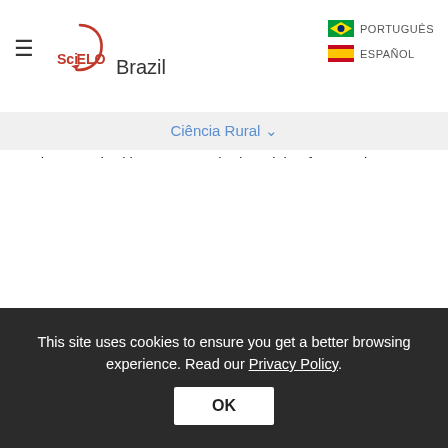SciELO Brazil | PORTUGUÊS | ESPAÑOL
Ciência Rural ∨
dewormed, with an average body weight of 9.0±1.2kg, were used. The dogs were raised and housed during the experiment at the kennel of the Laboratory of Canine Nutrition Studies (Laboratório de Estudos de Nutrição Canina - LENUCAN), located at the Agrarian Sciences campus of the Federal University of Paraná (UFPR).
Two diets were evaluated: a basal diet (control), and a diet supplemented with 0.01% of the probiotic Bacillus subtilis (C-3102; 1x10^10 CFU g^-1) ( Table 1). This probiotic was added to 300mL
This site uses cookies to ensure you get a better browsing experience. Read our Privacy Policy.